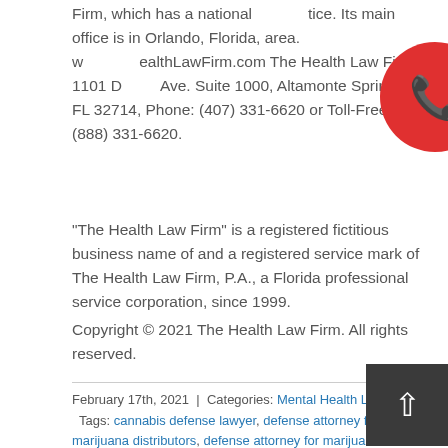Firm, which has a national practice. Its main office is in Orlando, Florida, area. www.TheHealthLawFirm.com The Health Law Firm, 1101 Douglas Ave. Suite 1000, Altamonte Springs, FL 32714, Phone: (407) 331-6620 or Toll-Free: (888) 331-6620.
“The Health Law Firm” is a registered fictitious business name of and a registered service mark of The Health Law Firm, P.A., a Florida professional service corporation, since 1999.
Copyright © 2021 The Health Law Firm. All rights reserved.
February 17th, 2021 | Categories: Mental Health Law Blog | Tags: cannabis defense lawyer, defense attorney for marijuana distributors, defense attorney for marijuana growers, defense lawyer for medical marijuana, Florida marijuana law attorney, Florida medical cannabis representation, Florida medical marijuana legislation, healthcare business application attorney, health law defense attorney, health lawyers for marijuana distributors, legal counsel for marijuana growers